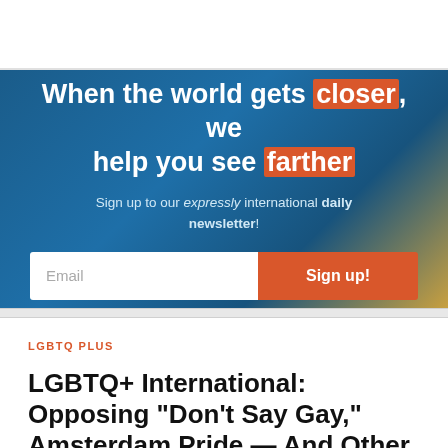[Figure (screenshot): Top navigation bar area, white background, partially visible]
When the world gets closer, we help you see farther
Sign up to our expressly international daily newsletter!
Email
Sign up!
LGBTQ PLUS
LGBTQ+ International: Opposing "Don't Say Gay," Amsterdam Pride — And Other Top News